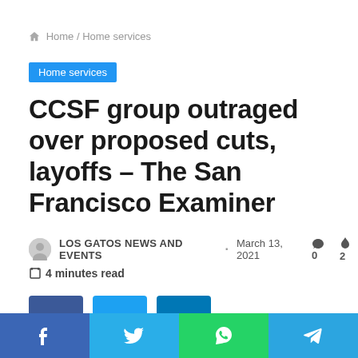🏠 Home / Home services
Home services
CCSF group outraged over proposed cuts, layoffs – The San Francisco Examiner
LOS GATOS NEWS AND EVENTS · March 13, 2021 🗨 0 🔥 2
🔖 4 minutes read